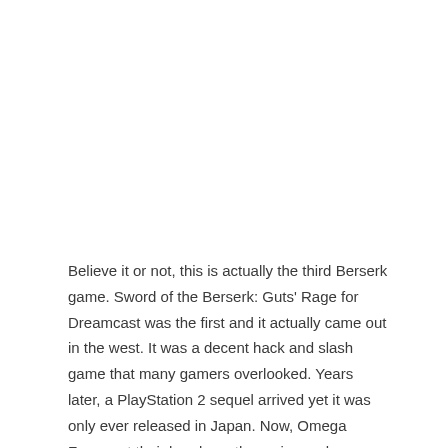Believe it or not, this is actually the third Berserk game. Sword of the Berserk: Guts' Rage for Dreamcast was the first and it actually came out in the west. It was a decent hack and slash game that many gamers overlooked. Years later, a PlayStation 2 sequel arrived yet it was only ever released in Japan. Now, Omega Force got their hands on the series and you know what that means: it's time for Guts and his accompanying cast of characters to slice and dice their way through hundreds of nearly defenceless monsters.